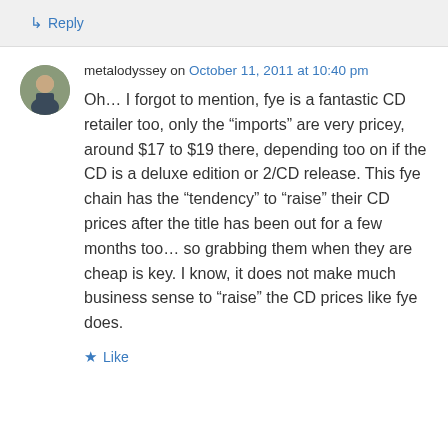↳ Reply
metalodyssey on October 11, 2011 at 10:40 pm
Oh… I forgot to mention, fye is a fantastic CD retailer too, only the “imports” are very pricey, around $17 to $19 there, depending too on if the CD is a deluxe edition or 2/CD release. This fye chain has the “tendency” to “raise” their CD prices after the title has been out for a few months too… so grabbing them when they are cheap is key. I know, it does not make much business sense to “raise” the CD prices like fye does.
★ Like